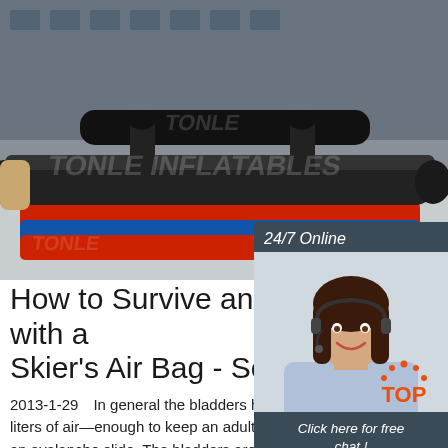[Figure (photo): Inflatable jousting or gladiator arena equipment laid out on pavement in front of a building, with a watermark 'TONLE INFLATABLES' overlaid. Large black inflatable bars/beams visible.]
[Figure (photo): Customer service agent woman with headset smiling, shown in a dark sidebar panel with '24/7 Online' label, 'Click here for free chat!' text and an orange 'QUOTATION' button.]
How to Survive an Avalanche with a Skier's Air Bag - Scientific ...
2013-1-29  In general the bladders hold between 85 and 150 liters of air—enough to keep an adult skier near the surface of an avalanche slide. The bladders are designed to stay inflated for several minutes
[Figure (logo): Orange 'TOP' badge/logo with dotted arc above the text]